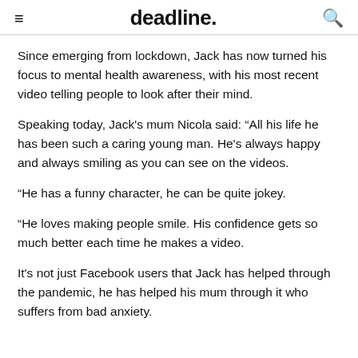deadline.
Since emerging from lockdown, Jack has now turned his focus to mental health awareness, with his most recent video telling people to look after their mind.
Speaking today, Jack's mum Nicola said: “All his life he has been such a caring young man. He's always happy and always smiling as you can see on the videos.
“He has a funny character, he can be quite jokey.
“He loves making people smile. His confidence gets so much better each time he makes a video.
It's not just Facebook users that Jack has helped through the pandemic, he has helped his mum through it who suffers from bad anxiety.